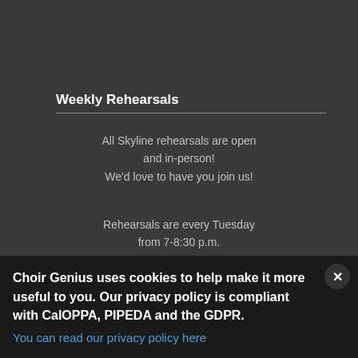Weekly Rehearsals
All Skyline rehearsals are open and in-person!
We'd love to have you join us!
Rehearsals are every Tuesday from 7-8:30 p.m.
Check-In begins at 6:30
For more information, please email us. We can't wait to meet you!
Choir Genius uses cookies to help make it more useful to you. Our privacy policy is compliant with CalOPPA, PIPEDA and the GDPR.
You can read our privacy policy here